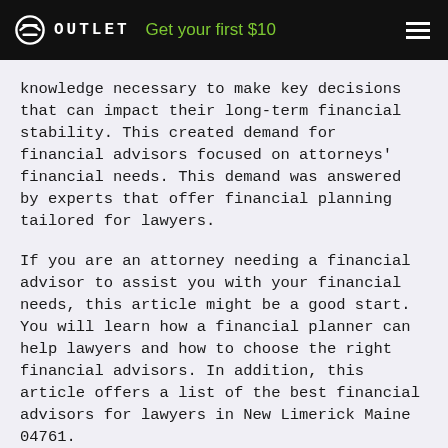OUTLET — Get your first $10
knowledge necessary to make key decisions that can impact their long-term financial stability. This created demand for financial advisors focused on attorneys' financial needs. This demand was answered by experts that offer financial planning tailored for lawyers.
If you are an attorney needing a financial advisor to assist you with your financial needs, this article might be a good start. You will learn how a financial planner can help lawyers and how to choose the right financial advisors. In addition, this article offers a list of the best financial advisors for lawyers in New Limerick Maine 04761.